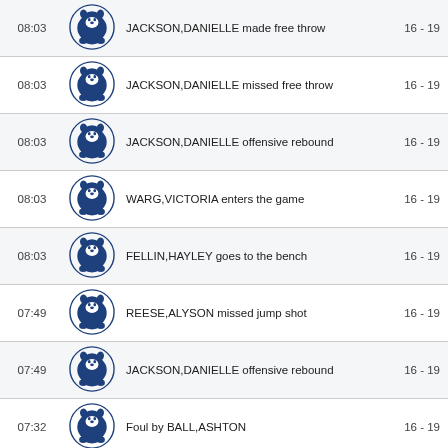| Time | Team | Action | Score |
| --- | --- | --- | --- |
| 08:03 | [Penn State] | JACKSON,DANIELLE made free throw | 16 - 19 |
| 08:03 | [Penn State] | JACKSON,DANIELLE missed free throw | 16 - 19 |
| 08:03 | [Penn State] | JACKSON,DANIELLE offensive rebound | 16 - 19 |
| 08:03 | [Penn State] | WARG,VICTORIA enters the game | 16 - 19 |
| 08:03 | [Penn State] | FELLIN,HAYLEY goes to the bench | 16 - 19 |
| 07:49 | [Penn State] | REESE,ALYSON missed jump shot | 16 - 19 |
| 07:49 | [Penn State] | JACKSON,DANIELLE offensive rebound | 16 - 19 |
| 07:32 | [Penn State] | Foul by BALL,ASHTON | 16 - 19 |
| 07:32 | [Penn State] | BALL,ASHTON enters the game | 16 - 19 |